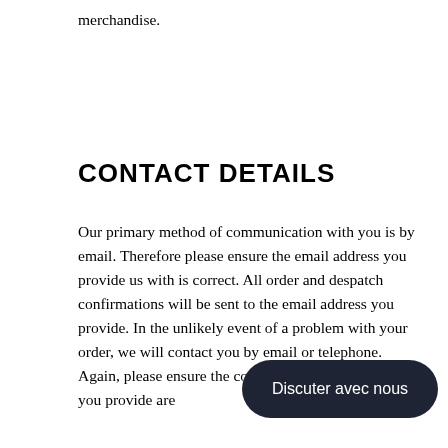merchandise.
CONTACT DETAILS
Our primary method of communication with you is by email. Therefore please ensure the email address you provide us with is correct. All order and despatch confirmations will be sent to the email address you provide. In the unlikely event of a problem with your order, we will contact you by email or telephone. Again, please ensure the contact telephone numbers you provide are